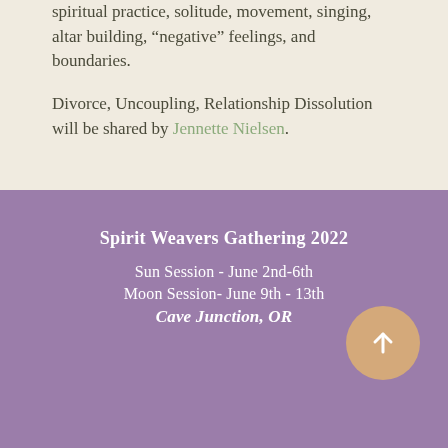spiritual practice, solitude, movement, singing, altar building, “negative” feelings, and boundaries.
Divorce, Uncoupling, Relationship Dissolution will be shared by Jennette Nielsen.
Spirit Weavers Gathering 2022
Sun Session - June 2nd-6th
Moon Session- June 9th - 13th
Cave Junction, OR
KEEP UP-TO-DATE ON THE GATHERING:
Email Address